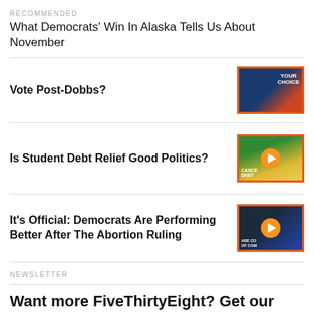RECOMMENDED
What Democrats’ Win In Alaska Tells Us About November
Vote Post-Dobbs?
[Figure (screenshot): Thumbnail image with orange border showing protest sign with YOUR CHOICE text, blue background]
Is Student Debt Relief Good Politics?
[Figure (screenshot): Thumbnail image with orange border showing protest with CANCEL DEBT sign, play button overlay]
It’s Official: Democrats Are Performing Better After The Abortion Ruling
[Figure (screenshot): Thumbnail image with orange border showing man in suit at news desk, play button overlay]
NEWSLETTER
Want more FiveThirtyEight? Get our weekly most popular stories newsletter.